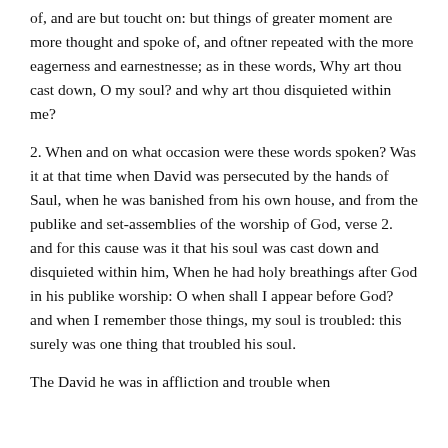of, and are but toucht on: but things of greater moment are more thought and spoke of, and oftner repeated with the more eagerness and earnestnesse; as in these words, Why art thou cast down, O my soul? and why art thou disquieted within me?
2. When and on what occasion were these words spoken? Was it at that time when David was persecuted by the hands of Saul, when he was banished from his own house, and from the publike and set-assemblies of the worship of God, verse 2. and for this cause was it that his soul was cast down and disquieted within him, When he had holy breathings after God in his publike worship: O when shall I appear before God? and when I remember those things, my soul is troubled: this surely was one thing that troubled his soul.
The David he was in affliction and trouble when